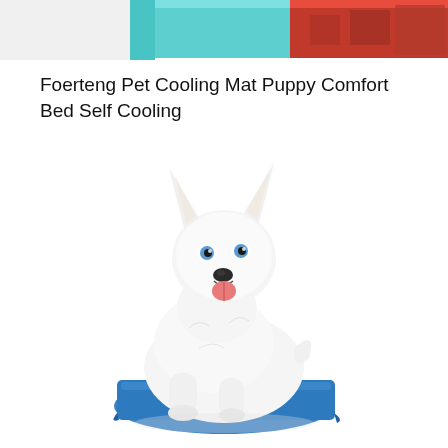[Figure (photo): Partial view of multiple product images at the top of the page showing colored pet mats/beds (teal and red/patterned).]
Foerteng Pet Cooling Mat Puppy Comfort Bed Self Cooling
[Figure (photo): A white dog with blue eyes lying on a blue pet cooling mat, looking at the camera with mouth open and tongue visible.]